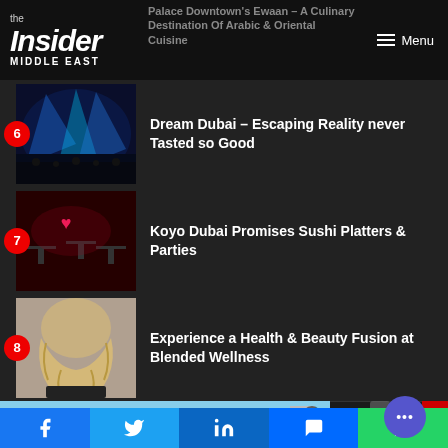the Insider MIDDLE EAST — Menu
Palace Downtown's Ewaan – A Culinary Destination Of Arabic & Oriental Cuisine
6 – Dream Dubai – Escaping Reality never Tasted so Good
7 – Koyo Dubai Promises Sushi Platters & Parties
8 – Experience a Health & Beauty Fusion at Blended Wellness
[Figure (screenshot): Ad banner with building/sky image]
Facebook | Twitter | LinkedIn | Messenger | WhatsApp